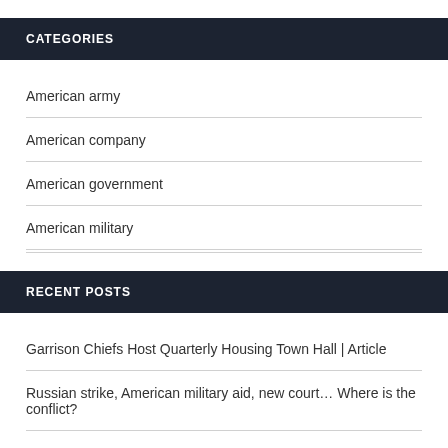CATEGORIES
American army
American company
American government
American military
RECENT POSTS
Garrison Chiefs Host Quarterly Housing Town Hall | Article
Russian strike, American military aid, new court… Where is the conflict?